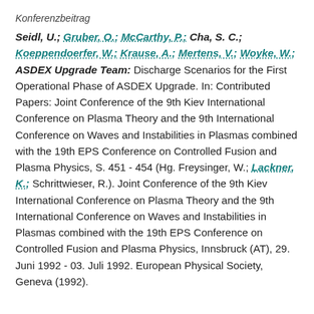Konferenzbeitrag
Seidl, U.; Gruber, O.; McCarthy, P.; Cha, S. C.; Koeppendoerfer, W.; Krause, A.; Mertens, V.; Woyke, W.; ASDEX Upgrade Team: Discharge Scenarios for the First Operational Phase of ASDEX Upgrade. In: Contributed Papers: Joint Conference of the 9th Kiev International Conference on Plasma Theory and the 9th International Conference on Waves and Instabilities in Plasmas combined with the 19th EPS Conference on Controlled Fusion and Plasma Physics, S. 451 - 454 (Hg. Freysinger, W.; Lackner, K.; Schrittwieser, R.). Joint Conference of the 9th Kiev International Conference on Plasma Theory and the 9th International Conference on Waves and Instabilities in Plasmas combined with the 19th EPS Conference on Controlled Fusion and Plasma Physics, Innsbruck (AT), 29. Juni 1992 - 03. Juli 1992. European Physical Society, Geneva (1992).